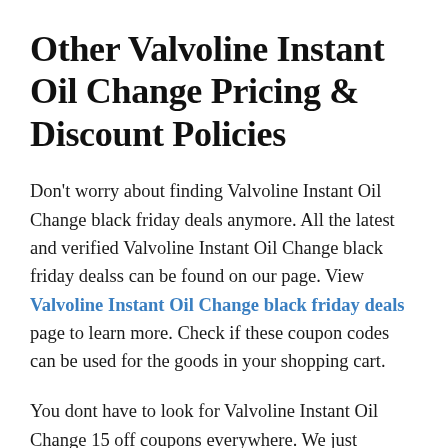Other Valvoline Instant Oil Change Pricing & Discount Policies
Don't worry about finding Valvoline Instant Oil Change black friday deals anymore. All the latest and verified Valvoline Instant Oil Change black friday dealss can be found on our page. View Valvoline Instant Oil Change black friday deals page to learn more. Check if these coupon codes can be used for the goods in your shopping cart.
You dont have to look for Valvoline Instant Oil Change 15 off coupons everywhere. We just verified the Valvoline Instant Oil Change 15 off coupons we found for you. Take a look at the list of promotions